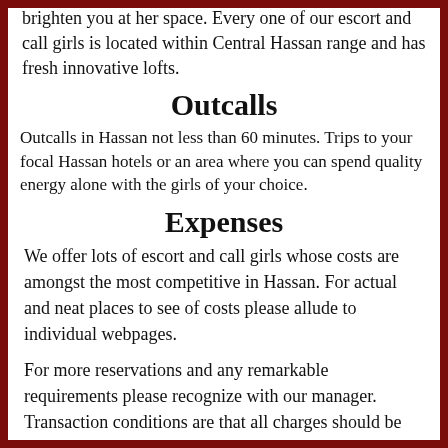brighten you at her space. Every one of our escort and call girls is located within Central Hassan range and has fresh innovative lofts.
Outcalls
Outcalls in Hassan not less than 60 minutes. Trips to your focal Hassan hotels or an area where you can spend quality energy alone with the girls of your choice.
Expenses
We offer lots of escort and call girls whose costs are amongst the most competitive in Hassan. For actual and neat places to see of costs please allude to individual webpages.
For more reservations and any remarkable requirements please recognize with our manager. Transaction conditions are that all charges should be